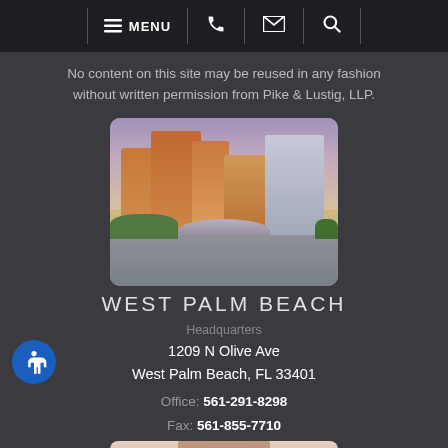MENU [navigation bar with phone, email, search icons]
No content on this site may be reused in any fashion without written permission from Pike & Lustig, LLP.
[Figure (photo): Cityscape photo of West Palm Beach skyline with buildings reflected in water, purple-tinted sky]
WEST PALM BEACH
Headquarters
1209 N Olive Ave
West Palm Beach, FL 33401
Office: 561-291-8298
Fax: 561-855-7710
[Figure (photo): Partial view of another city building photo, cropped at bottom of page]